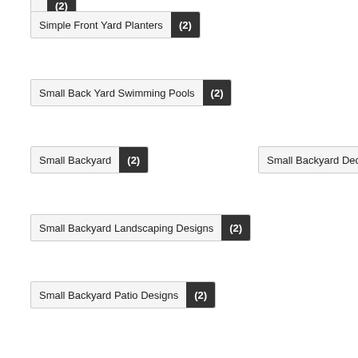Simple Front Yard Planters (2)
Small Back Yard Swimming Pools (2)
Small Backyard (2)
Small Backyard Decks (2)
Small Backyard Landscaping Designs (2)
Small Backyard Patio Designs (2)
Small Backyard Pavers (2)
Small Backyard Privacy Landscaping (2)
Small Backyard Remodel (2)
Small Backyards with Pools (2)
Small Cottage Gardens (2)
Small Dwarf Trees for Landscaping (2)
Small Flower Gardens (2)
Small Front Yard Design (2)